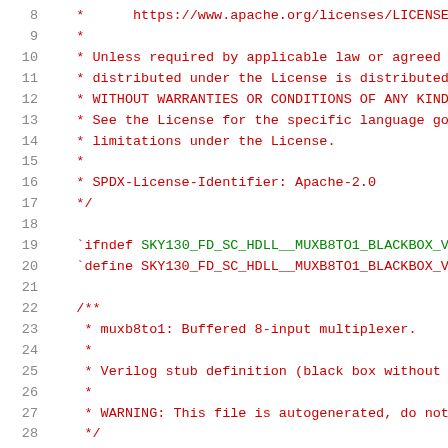Source code listing: Verilog blackbox stub header for SKY130_FD_SC_HDLL__MUXB8TO1, lines 8-28. Apache License 2.0 header and SPDX identifier, with preprocessor guards and module documentation comment.